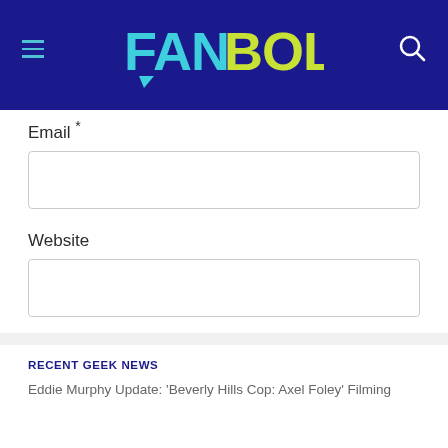[Figure (logo): FanBolt logo on dark navy header bar with hamburger menu icon on left and search icon on right]
Email *
Website
Publish
RECENT GEEK NEWS
Eddie Murphy Update: 'Beverly Hills Cop: Axel Foley' Filming